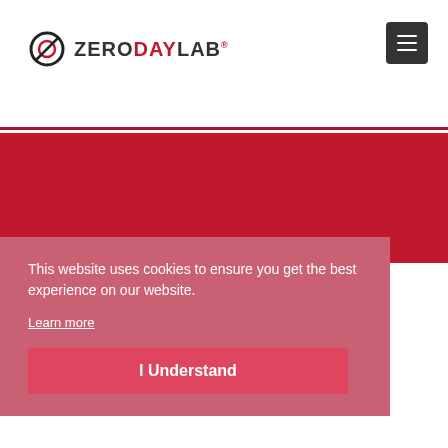[Figure (logo): ZeroDayLab logo with circular icon and text ZERODAYLAB with registered trademark symbol]
[Figure (other): Hamburger menu button (three horizontal lines) in dark square]
This website uses cookies to ensure you get the best experience on our website.
Learn more
I Understand